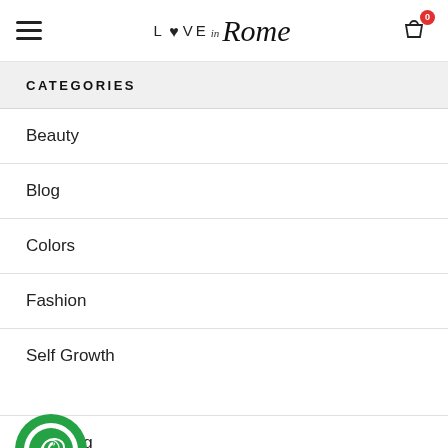Love in Rome — navigation header with hamburger menu and cart icon showing 0
CATEGORIES
Beauty
Blog
Colors
Fashion
Self Growth
Wedding
[Figure (illustration): Green WhatsApp floating button icon, circular with white WhatsApp logo]
[Figure (illustration): Back to top arrow button, circular outline with upward chevron]